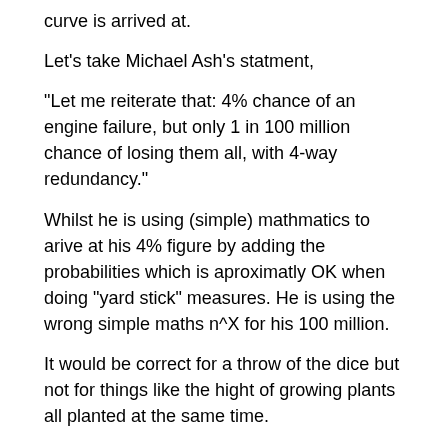curve is arrived at.
Let's take Michael Ash's statment,
“Let me reiterate that: 4% chance of an engine failure, but only 1 in 100 million chance of losing them all, with 4-way redundancy.”
Whilst he is using (simple) mathmatics to arive at his 4% figure by adding the probabilities which is aproximatly OK when doing “yard stick” measures. He is using the wrong simple maths n^X for his 100 million.
It would be correct for a throw of the dice but not for things like the hight of growing plants all planted at the same time.
That is his 100 million is correct for all four engines stoping at exactly the same infinatly small instant in time and nothing else. Which from an engineering prospective is a compleate nonsense.
Most people after even a moments thought would realise this. After all when a chain breaks which is going to happen one link break or all links break?